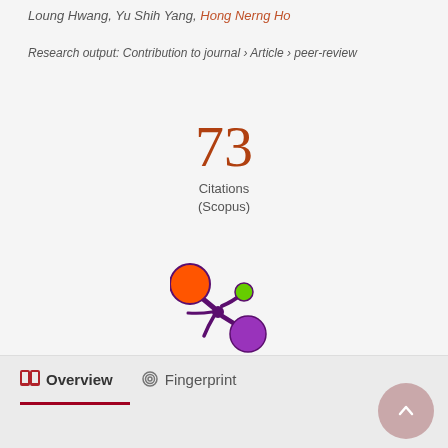Loung Hwang, Yu Shih Yang, Hong Nerng Ho
Research output: Contribution to journal › Article › peer-review
73 Citations (Scopus)
[Figure (logo): Altmetric logo — colorful splat/asterisk shape with orange, green, and purple circles connected by purple arms]
Overview
Fingerprint